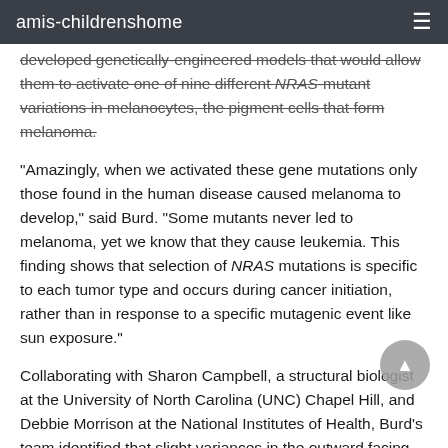amis-childrenshome
developed genetically-engineered models that would allow them to activate one of nine different NRAS-mutant variations in melanocytes, the pigment cells that form melanoma.
"Amazingly, when we activated these gene mutations only those found in the human disease caused melanoma to develop," said Burd. "Some mutants never led to melanoma, yet we know that they cause leukemia. This finding shows that selection of NRAS mutations is specific to each tumor type and occurs during cancer initiation, rather than in response to a specific mutagenic event like sun exposure."
Collaborating with Sharon Campbell, a structural biologist at the University of North Carolina (UNC) Chapel Hill, and Debbie Morrison at the National Institutes of Health, Burd's team identified that slight variances in the outward facing structure of NRAS mutants capable of initiating melanoma that made